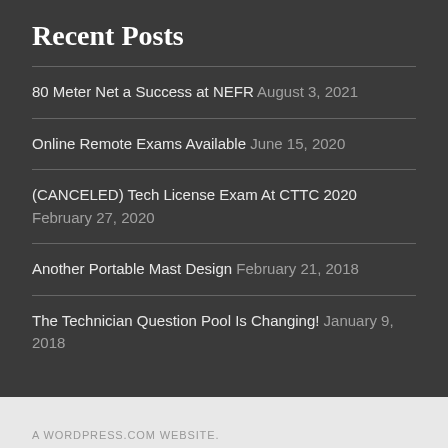Recent Posts
80 Meter Net a Success at NEFR August 3, 2021
Online Remote Exams Available June 15, 2020
(CANCELED) Tech License Exam At CTTC 2020 February 27, 2020
Another Portable Mast Design February 21, 2018
The Technician Question Pool Is Changing! January 9, 2018
A WORDPRESS.COM WEBSITE.